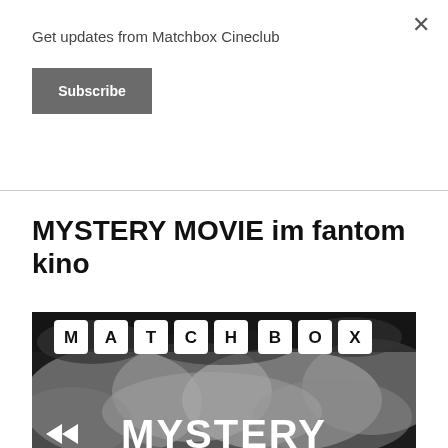Get updates from Matchbox Cineclub
Subscribe
MYSTERY MOVIE im fantom kino
[Figure (photo): Matchbox Cineclub promotional image with letter tiles spelling MATCHBOX over a smoky black and white background, with MYSTERY text partially visible at the bottom and double arrow icon on the left]